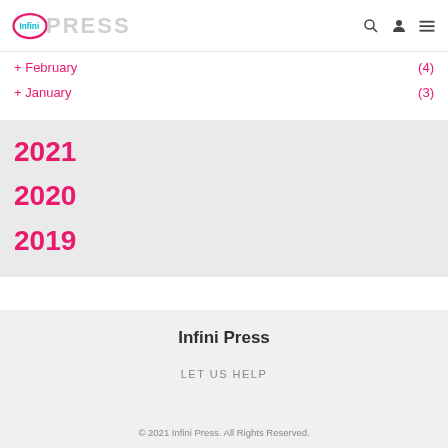Infini Press
+ February (4)
+ January (3)
2021
2020
2019
Infini Press
LET US HELP
© 2021 Infini Press. All Rights Reserved.